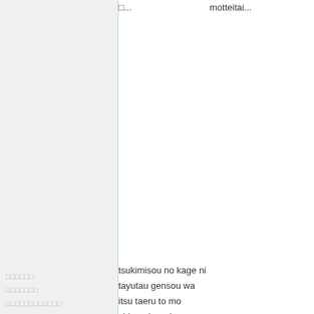□...
motteitai...
mea...
my to...
these...
In the...
shad...
ever...
prim...
Drifti...
illusi...
Wea...
drea...
faint...
could...
any m...
□□□□□□
□□□□□□□
□□□□□□□□□□□□
□□□□□
tsukimisou no kage ni
tayutau gensou wa
itsu taeru to mo
shirenai awai yume wo
tsumugu
Drea...
shine...
ever...
Of th...
□□□□□□□
□□□□□
kagiri aru jikan no
setsuna kagayaku